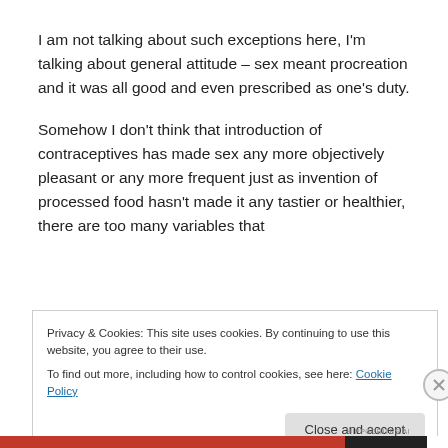I am not talking about such exceptions here, I'm talking about general attitude – sex meant procreation and it was all good and even prescribed as one's duty.
Somehow I don't think that introduction of contraceptives has made sex any more objectively pleasant or any more frequent just as invention of processed food hasn't made it any tastier or healthier, there are too many variables that
Privacy & Cookies: This site uses cookies. By continuing to use this website, you agree to their use.
To find out more, including how to control cookies, see here: Cookie Policy